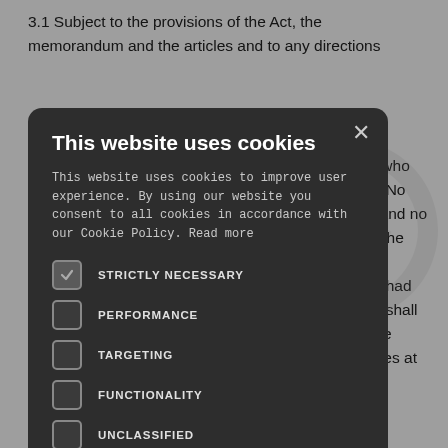3.1 Subject to the provisions of the Act, the memorandum and the articles and to any directions of the trustees who iation. No articles and no act of the that ection had article shall n to the Trustees at all the
[Figure (screenshot): Cookie consent modal dialog with dark background (#2d2d2d). Title: 'This website uses cookies'. Body text about cookies improving user experience and Cookie Policy. Checkboxes: STRICTLY NECESSARY (checked), PERFORMANCE (unchecked), TARGETING (unchecked), FUNCTIONALITY (unchecked), UNCLASSIFIED (unchecked). Buttons: ACCEPT ALL (green), DECLINE ALL (outline). SHOW DETAILS link with gear icon at bottom.]
lessly cting from articles the Trustees shall have the following powers, namely: